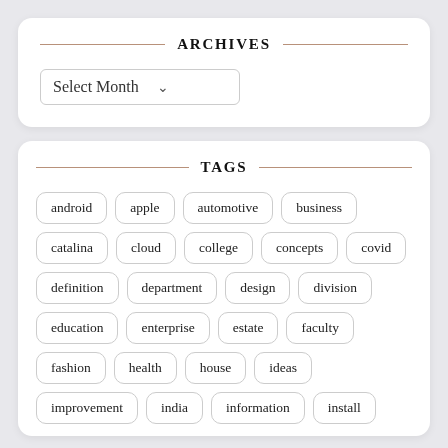ARCHIVES
Select Month
TAGS
android
apple
automotive
business
catalina
cloud
college
concepts
covid
definition
department
design
division
education
enterprise
estate
faculty
fashion
health
house
ideas
improvement
india
information
install